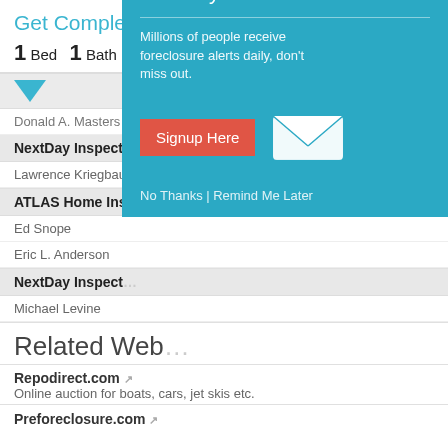Get Complete Address Arlington, VA 22201
1 Bed  1 Bath  627 Sq. Ft.  Condo  Status: In...
Donald A. Masters  202-435-4658
NextDay Inspect®
Lawrence Kriegbaum  703-450-6398
ATLAS Home Insp...
Ed Snope
Eric L. Anderson
NextDay Inspect...
Michael Levine
[Figure (screenshot): Popup modal overlay with teal background: 'Get NEW Foreclosure Listings sent to your inbox'. Text: 'Millions of people receive foreclosure alerts daily, don't miss out.' Red 'Signup Here' button, envelope icon, 'No Thanks | Remind Me Later' link.]
Related Web...
Repodirect.com
Online auction for boats, cars, jet skis etc.
Preforeclosure.com